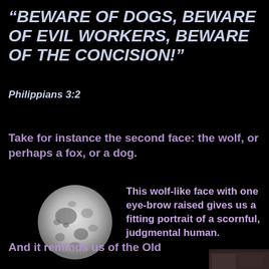“BEWARE OF DOGS, BEWARE OF EVIL WORKERS, BEWARE OF THE CONCISION!”
Philippians 3:2
Take for instance the second face: the wolf, or perhaps a fox, or a dog.
[Figure (photo): Full moon photograph against black background]
This wolf-like face with one eye-brow raised gives us a fitting portrait of a scornful, judgmental human.
And it reminds us of the Old
[Figure (photo): Partial image of a dark textured photo at bottom right corner]